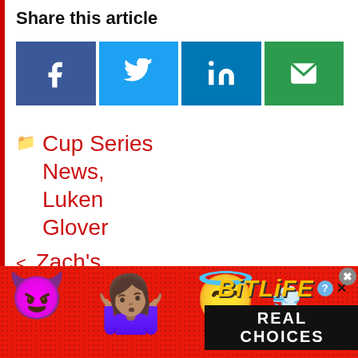Share this article
[Figure (infographic): Social share buttons for Facebook (blue), Twitter (light blue), LinkedIn (dark blue), and Email (green), each showing respective icons]
Cup Series News, Luken Glover
< Zach's Turn: Ryan Blaney
[Figure (infographic): BitLife advertisement banner with red dotted background, devil emoji, person emoji, angel emoji, sperm icon, BitLife logo in yellow italic text, and REAL CHOICES text in white on black background]